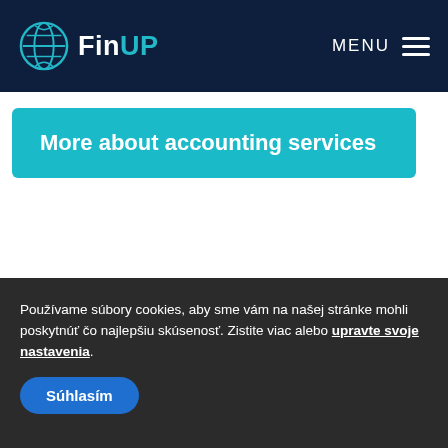FinUP — MENU
More about accounting services
Používame súbory cookies, aby sme vám na našej stránke mohli poskytnúť čo najlepšiu skúsenosť. Zistite viac alebo upravte svoje nastavenia.
Súhlasím